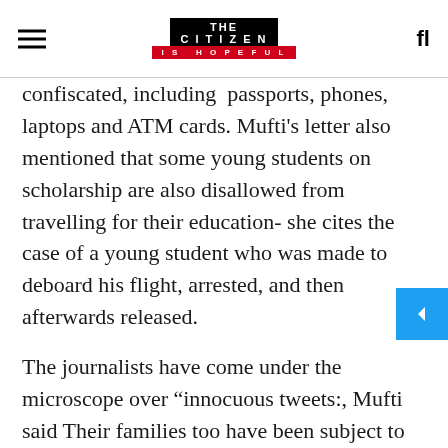THE CITIZEN IS HOPEFUL
confiscated, including passports, phones, laptops and ATM cards. Mufti’s letter also mentioned that some young students on scholarship are also disallowed from travelling for their education- she cites the case of a young student who was made to deboard his flight, arrested, and then afterwards released.
The journalists have come under the microscope over “innocuous tweets:, Mufti said Their families too have been subject to investigation by the CID. She stressed that even outside of this specific incident, “a sizable number of journalists are either threatened or charged with sections under the UAPA or sedition law, simply